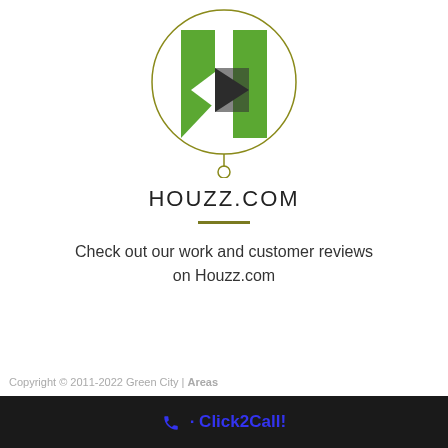[Figure (logo): Houzz logo: geometric green and black/white triangular shapes inside a golden circle, with a small circle connector below]
HOUZZ.COM
Check out our work and customer reviews on Houzz.com
Copyright © 2011-2022 Green City | Areas  · Click2Call!